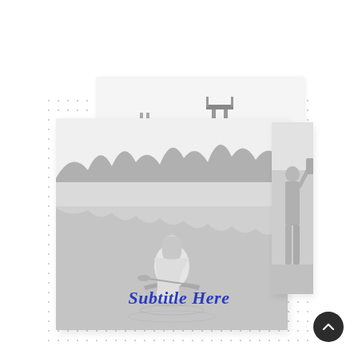[Figure (photo): Two overlapping grayscale photos on a dotted background. The back photo shows a misty lake or harbor scene with a dock/pier structure. The front larger photo shows a person in a wedding dress sitting in a canoe on a calm misty lake surrounded by trees. A vertical strip photo on the right shows a standing figure. Below the images is the subtitle 'Subtitle Here' in blue italic serif font. A dark circular scroll-to-top button is in the bottom right corner.]
Subtitle Here